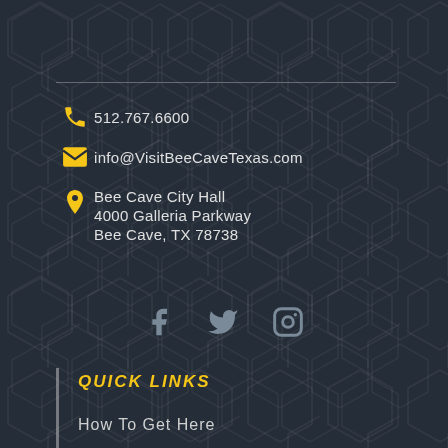512.767.6600
info@VisitBeeCaveTexas.com
Bee Cave City Hall
4000 Galleria Parkway
Bee Cave, TX 78738
[Figure (other): Social media icons: Facebook, Twitter, Instagram in gray]
QUICK LINKS
How To Get Here